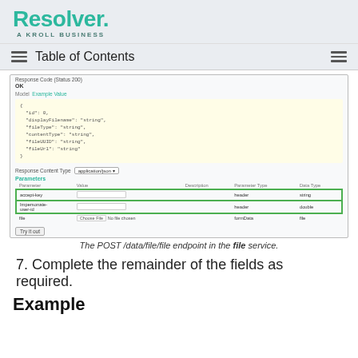[Figure (logo): Resolver. A Kroll Business logo in teal/green]
Table of Contents
[Figure (screenshot): Screenshot of POST /data/file/file API endpoint in Swagger UI showing response code, example JSON value, parameters table with accept-key and Impersonate-user-id fields highlighted in green, file field, and Try it out button]
The POST /data/file/file endpoint in the file service.
7. Complete the remainder of the fields as required.
Example